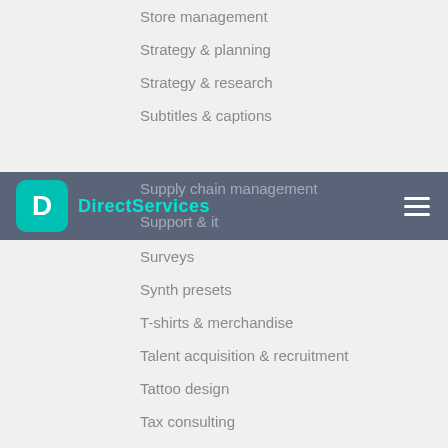Store management
Strategy & planning
Strategy & research
Subtitles & captions
Supply chain management
Support & it
Surveys
Synth presets
T-shirts & merchandise
Talent acquisition & recruitment
Tattoo design
Tax consulting
Technical seo
Technical support
Technical writing
Text message marketing
Theory
Thumbnails design
Tracking & reporting
DirectServices